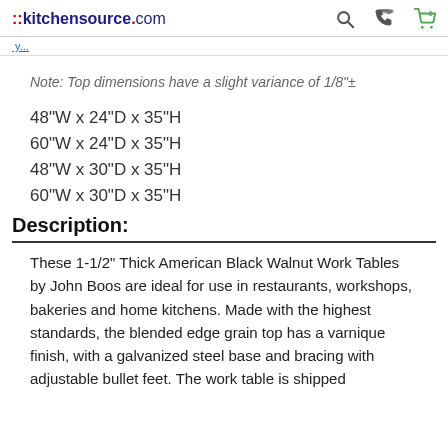::kitchensource.com
Note: Top dimensions have a slight variance of 1/8"±
48"W x 24"D x 35"H
60"W x 24"D x 35"H
48"W x 30"D x 35"H
60"W x 30"D x 35"H
Description:
These 1-1/2" Thick American Black Walnut Work Tables by John Boos are ideal for use in restaurants, workshops, bakeries and home kitchens. Made with the highest standards, the blended edge grain top has a varnique finish, with a galvanized steel base and bracing with adjustable bullet feet. The work table is shipped